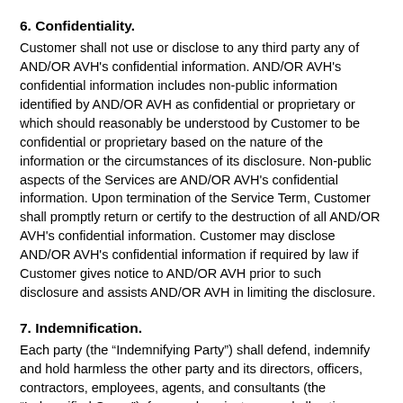6. Confidentiality.
Customer shall not use or disclose to any third party any of AND/OR AVH's confidential information. AND/OR AVH's confidential information includes non-public information identified by AND/OR AVH as confidential or proprietary or which should reasonably be understood by Customer to be confidential or proprietary based on the nature of the information or the circumstances of its disclosure. Non-public aspects of the Services are AND/OR AVH's confidential information. Upon termination of the Service Term, Customer shall promptly return or certify to the destruction of all AND/OR AVH's confidential information. Customer may disclose AND/OR AVH's confidential information if required by law if Customer gives notice to AND/OR AVH prior to such disclosure and assists AND/OR AVH in limiting the disclosure.
7. Indemnification.
Each party (the “Indemnifying Party”) shall defend, indemnify and hold harmless the other party and its directors, officers, contractors, employees, agents, and consultants (the “Indemnified Group”), from and against any and all actions, suits, proceedings, claims, liabilities, damages, losses, judgments, and expenses, including reasonable attorneys' fees and costs, made or claimed by a third party arising out of or related to: (i) the Indemnifying